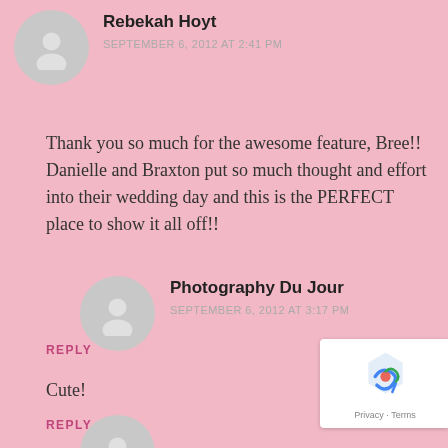Rebekah Hoyt
SEPTEMBER 6, 2012 AT 2:41 PM
Thank you so much for the awesome feature, Bree!! Danielle and Braxton put so much thought and effort into their wedding day and this is the PERFECT place to show it all off!!
REPLY
Photography Du Jour
SEPTEMBER 6, 2012 AT 3:17 PM
Cute!
REPLY